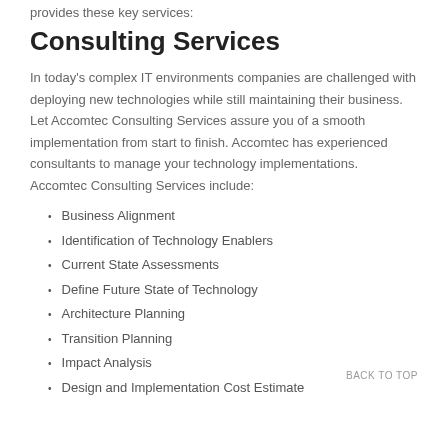provides these key services:
Consulting Services
In today's complex IT environments companies are challenged with deploying new technologies while still maintaining their business. Let Accomtec Consulting Services assure you of a smooth implementation from start to finish. Accomtec has experienced consultants to manage your technology implementations. Accomtec Consulting Services include:
Business Alignment
Identification of Technology Enablers
Current State Assessments
Define Future State of Technology
Architecture Planning
Transition Planning
Impact Analysis
Design and Implementation Cost Estimate
BACK TO TOP